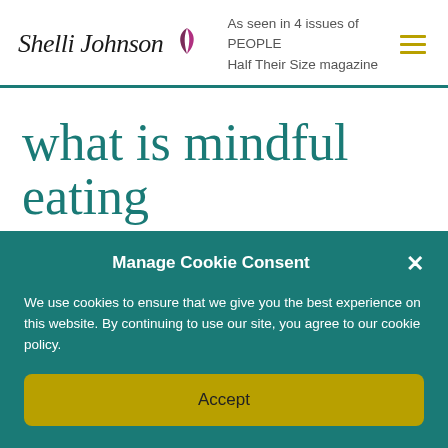Shelli Johnson — As seen in 4 issues of PEOPLE Half Their Size magazine
what is mindful eating
Manage Cookie Consent
We use cookies to ensure that we give you the best experience on this website. By continuing to use our site, you agree to our cookie policy.
Accept